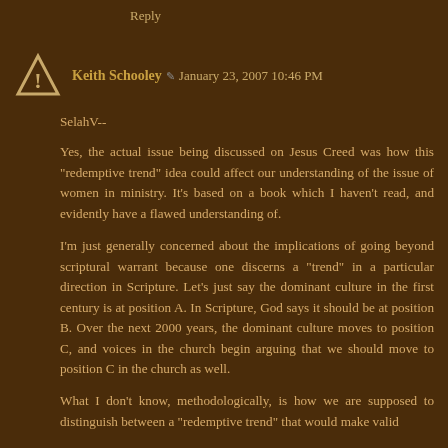Reply
Keith Schooley ✏ January 23, 2007 10:46 PM
SelahV--
Yes, the actual issue being discussed on Jesus Creed was how this "redemptive trend" idea could affect our understanding of the issue of women in ministry. It's based on a book which I haven't read, and evidently have a flawed understanding of.
I'm just generally concerned about the implications of going beyond scriptural warrant because one discerns a "trend" in a particular direction in Scripture. Let's just say the dominant culture in the first century is at position A. In Scripture, God says it should be at position B. Over the next 2000 years, the dominant culture moves to position C, and voices in the church begin arguing that we should move to position C in the church as well.
What I don't know, methodologically, is how we are supposed to distinguish between a "redemptive trend" that would make valid